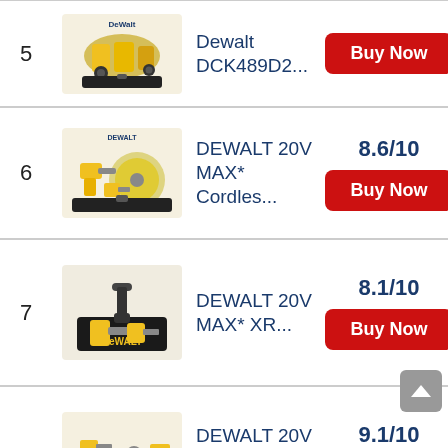| # | Image | Product | Score/Action |
| --- | --- | --- | --- |
| 5 | [image] | Dewalt DCK489D2... | Buy Now |
| 6 | [image] | DEWALT 20V MAX* Cordles... | 8.6/10 | Buy Now |
| 7 | [image] | DEWALT 20V MAX* XR... | 8.1/10 | Buy Now |
| 8 | [image] | DEWALT 20V MAX* Cordles... | 9.1/10 | Buy Now |